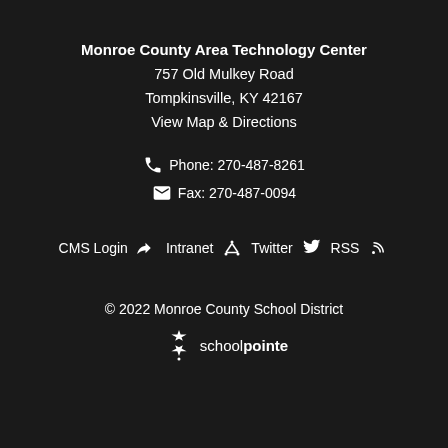Monroe County Area Technology Center
757 Old Mulkey Road
Tompkinsville, KY 42167
View Map & Directions
Phone: 270-487-8261
Fax: 270-487-0094
CMS Login  Intranet  Twitter  RSS
© 2022 Monroe County School District
[Figure (logo): schoolpointe logo with star icon]